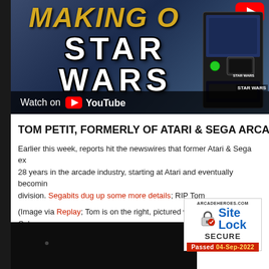[Figure (screenshot): YouTube video thumbnail for Star Wars pinball making-of video. Shows 'MAKING OF' text at top, large Star Wars logo in center-left, a pinball machine on the right, and 'Watch on YouTube' bar at bottom.]
TOM PETIT, FORMERLY OF ATARI & SEGA ARCADE DIVISIO
Earlier this week, reports hit the newswires that former Atari & Sega exc... 28 years in the arcade industry, starting at Atari and eventually becomin... division. Segabits dug up some more details; RIP Tom
(Image via Replay; Tom is on the right, pictured with the late Don Osbo...
[Figure (photo): Dark photo at bottom of page]
[Figure (other): SiteLock SECURE badge from arcadeheroes.com, Passed 04-Sep-2022]